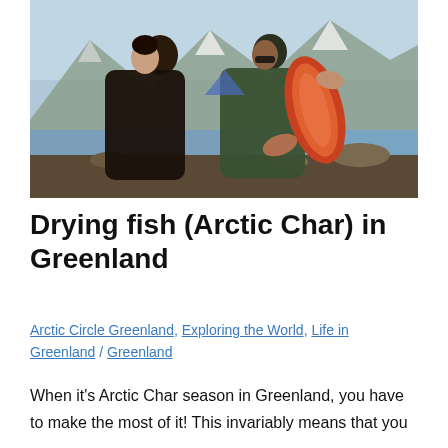[Figure (photo): Two people outdoors in Greenland holding a bright orange/red fillet of Arctic Char fish. Mountains with snow, a river or lake, and rocky terrain in the background. One person wears a dark brown jacket, the other a green jacket with sunglasses.]
Drying fish (Arctic Char) in Greenland
Arctic Circle Greenland, Exploring the World, Life in Greenland / Greenland
When it's Arctic Char season in Greenland, you have to make the most of it! This invariably means that you